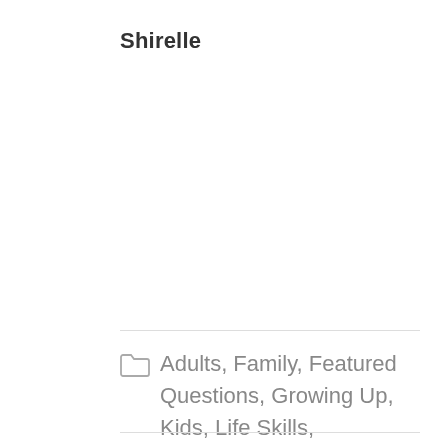Shirelle
Adults, Family, Featured Questions, Growing Up, Kids, Life Skills, Parenting, Questions, Relationships, School, Teens